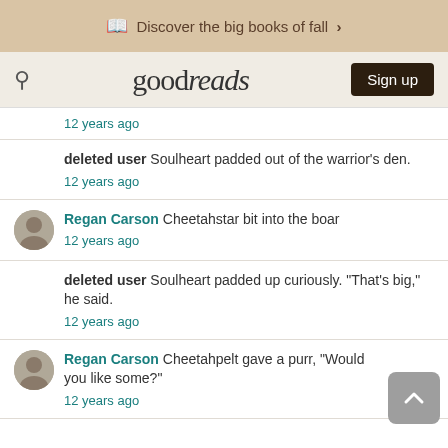Discover the big books of fall >
goodreads  Sign up
12 years ago
deleted user Soulheart padded out of the warrior's den.
12 years ago
Regan Carson Cheetahstar bit into the boar
12 years ago
deleted user Soulheart padded up curiously. "That's big," he said.
12 years ago
Regan Carson Cheetahpelt gave a purr, "Would you like some?"
12 years ago